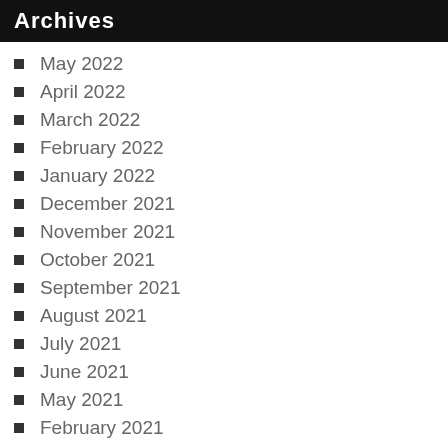Archives
May 2022
April 2022
March 2022
February 2022
January 2022
December 2021
November 2021
October 2021
September 2021
August 2021
July 2021
June 2021
May 2021
February 2021
January 2021
December 2020
November 2020
October 2020